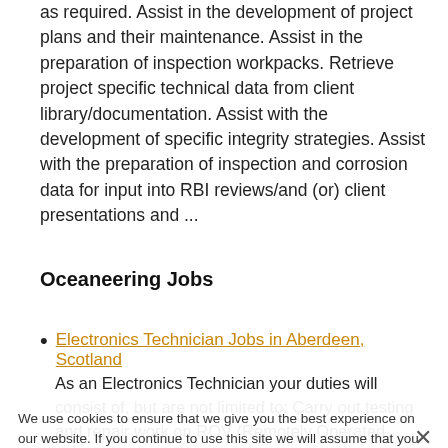as required. Assist in the development of project plans and their maintenance. Assist in the preparation of inspection workpacks. Retrieve project specific technical data from client library/documentation. Assist with the development of specific integrity strategies. Assist with the preparation of inspection and corrosion data for input into RBI reviews/and (or) client presentations and ...
Oceaneering Jobs
Electronics Technician Jobs in Aberdeen, Scotland
As an Electronics Technician your duties will consist of, but are not limited to: Carry out testing and repair work on ROV (Remotely Operated Vehicle) equipment and assembly and install new build systems. - Test and repair all ROV ancillary
We use cookies to ensure that we give you the best experience on our website. If you continue to use this site we will assume that you are happy with it. OK